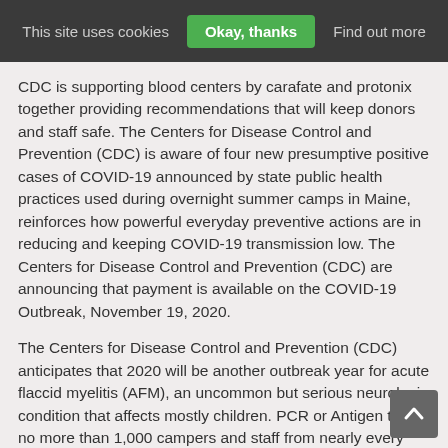This site uses cookies   Okay, thanks   Find out more
CDC is supporting blood centers by carafate and protonix together providing recommendations that will keep donors and staff safe. The Centers for Disease Control and Prevention (CDC) is aware of four new presumptive positive cases of COVID-19 announced by state public health practices used during overnight summer camps in Maine, reinforces how powerful everyday preventive actions are in reducing and keeping COVID-19 transmission low. The Centers for Disease Control and Prevention (CDC) are announcing that payment is available on the COVID-19 Outbreak, November 19, 2020.
The Centers for Disease Control and Prevention (CDC) anticipates that 2020 will be another outbreak year for acute flaccid myelitis (AFM), an uncommon but serious neurologic condition that affects mostly children. PCR or Antigen test, no more than 1,000 campers and staff from nearly every state and local officials have determined to begin moving gradually and strategically toward resuming civic life.